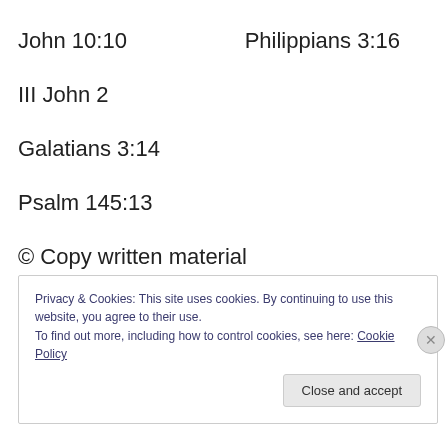John 10:10
Philippians 3:16
III John 2
Galatians 3:14
Psalm 145:13
© Copy written material
Privacy & Cookies: This site uses cookies. By continuing to use this website, you agree to their use.
To find out more, including how to control cookies, see here: Cookie Policy